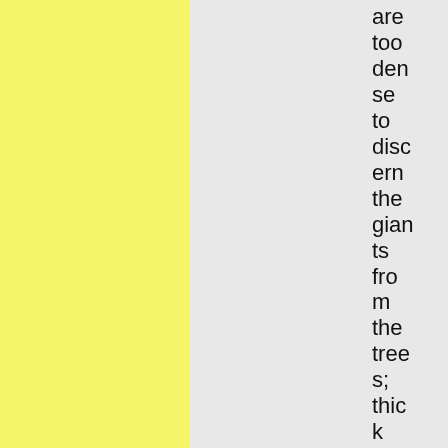are too dense to discern the giants from the trees; thick legs could be stumps